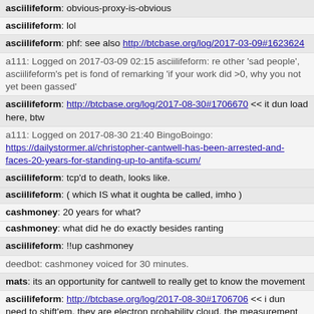asciilifeform: obvious-proxy-is-obvious
asciilifeform: lol
asciilifeform: phf: see also http://btcbase.org/log/2017-03-09#1623624
a111: Logged on 2017-03-09 02:15 asciilifeform: re other 'sad people', asciilifeform's pet is fond of remarking 'if your work did >0, why you not yet been gassed'
asciilifeform: http://btcbase.org/log/2017-08-30#1706670 << it dun load here, btw
a111: Logged on 2017-08-30 21:40 BingoBoingo: https://dailystormer.al/christopher-cantwell-has-been-arrested-and-faces-20-years-for-standing-up-to-antifa-scum/
asciilifeform: tcp'd to death, looks like.
asciilifeform: ( which IS what it oughta be called, imho )
cashmoney: 20 years for what?
cashmoney: what did he do exactly besides ranting
asciilifeform: !!up cashmoney
deedbot: cashmoney voiced for 30 minutes.
mats: its an opportunity for cantwell to really get to know the movement
asciilifeform: http://btcbase.org/log/2017-08-30#1706706 << i dun need to shift'em, they are electron probability cloud. the measurement only happens in response to the question!11
a111: Logged on 2017-08-30 22:06 mircea_popescu: http://btcbase.org/log/2017-08-30#1706449 << see alfie ? see how they address the tools of the enemy and come back on a ?